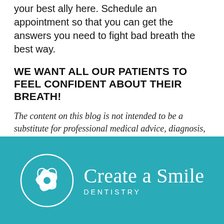your best ally here. Schedule an appointment so that you can get the answers you need to fight bad breath the best way.
WE WANT ALL OUR PATIENTS TO FEEL CONFIDENT ABOUT THEIR BREATH!
The content on this blog is not intended to be a substitute for professional medical advice, diagnosis, or treatment. Always seek the advice of qualified health providers with questions you may have regarding medical conditions.
[Figure (logo): Create a Smile Dentistry logo: circular flower/snowflake symbol in white on teal background, with text 'Create a Smile' in serif font and 'DENTISTRY' in spaced caps below.]